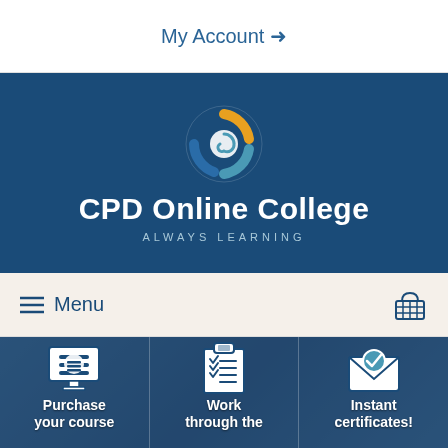My Account →
[Figure (logo): CPD Online College logo with spiral icon in blue, teal, and gold on dark blue background]
CPD Online College
ALWAYS LEARNING
≡ Menu
[Figure (infographic): Three panel hero image with people in background and three icons: (1) computer monitor with layers icon - Purchase your course, (2) clipboard with checklist - Work through the units, (3) envelope with checkmark - Instant certificates!]